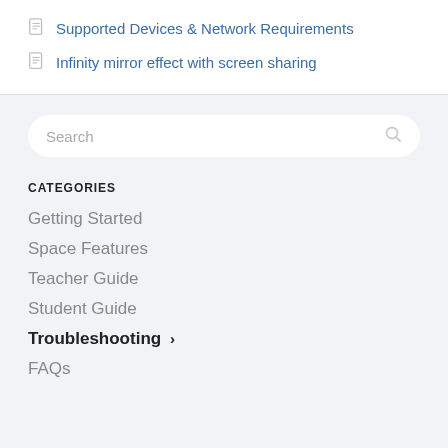Supported Devices & Network Requirements
Infinity mirror effect with screen sharing
CATEGORIES
Getting Started
Space Features
Teacher Guide
Student Guide
Troubleshooting ›
FAQs